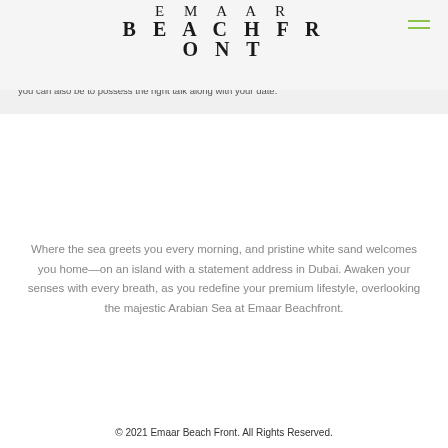EMAAR BEACHFRONT
you can also be to possess the right talk along with your date.
Where the sea greets you every morning, and pristine white sand welcomes you home—on an island with a statement address in Dubai. Awaken your senses with every breath, as you redefine your premium lifestyle, overlooking the majestic Arabian Sea at Emaar Beachfront.
© 2021 Emaar Beach Front. All Rights Reserved.